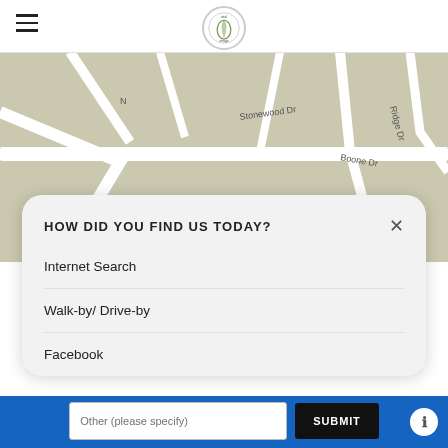[Figure (screenshot): Mobile website header with hamburger menu icon on the left and a circular logo in the center]
[Figure (map): Google Maps partial view showing streets including Stonewood Dr, Boone Dr, Ridge Dr with a red location pin]
HOW DID YOU FIND US TODAY?
Internet Search
Walk-by/ Drive-by
Facebook
Other (please specify)  SUBMIT